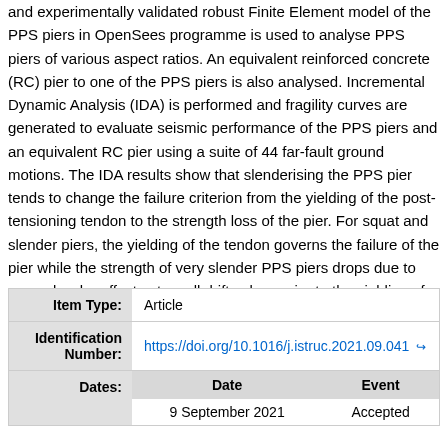and experimentally validated robust Finite Element model of the PPS piers in OpenSees programme is used to analyse PPS piers of various aspect ratios. An equivalent reinforced concrete (RC) pier to one of the PPS piers is also analysed. Incremental Dynamic Analysis (IDA) is performed and fragility curves are generated to evaluate seismic performance of the PPS piers and an equivalent RC pier using a suite of 44 far-fault ground motions. The IDA results show that slenderising the PPS pier tends to change the failure criterion from the yielding of the post-tensioning tendon to the strength loss of the pier. For squat and slender piers, the yielding of the tendon governs the failure of the pier while the strength of very slender PPS piers drops due to second-order effects at small drift values prior to the yielding of the post-tensioning tendon. It is also found from fragility curves that squat piers are more prone to seismic collapse compared to slender piers. The equivalent RC pier reaches slight and medium damage states in lower intensity measures compared to the PPS pier.
| Item Type: | Article |
| --- | --- |
| Identification Number: | https://doi.org/10.1016/j.istruc.2021.09.041 |
| Dates: | Date | Event
9 September 2021 | Accepted |